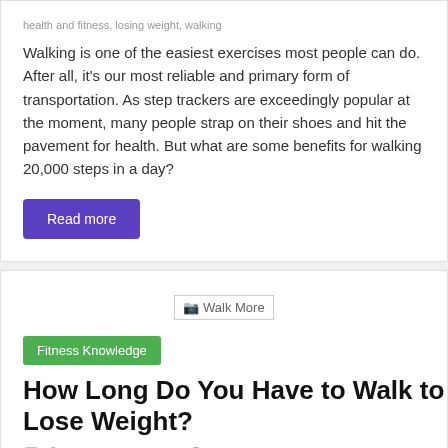health and fitness, losing weight, walking
Walking is one of the easiest exercises most people can do. After all, it's our most reliable and primary form of transportation. As step trackers are exceedingly popular at the moment, many people strap on their shoes and hit the pavement for health. But what are some benefits for walking 20,000 steps in a day?
Read more
[Figure (photo): Walk More — placeholder image with broken image icon and alt text 'Walk More']
Fitness Knowledge
How Long Do You Have to Walk to Lose Weight?
Michael Brockbank   0 Comments   burn calories, burn fat, losing weight, walking